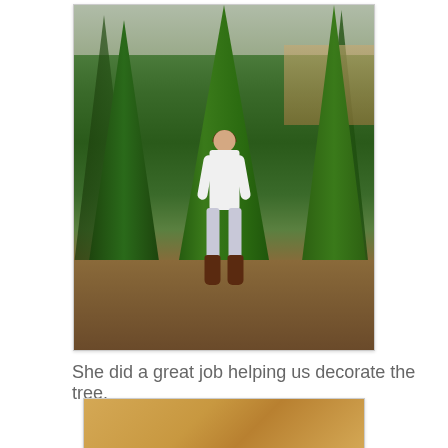[Figure (photo): A young girl with curly brown hair, wearing a white long-sleeve shirt, light gray leggings, and dark brown boots, standing in front of large green conifer trees at what appears to be a Christmas tree farm. The background shows rows of tall green trees and brown ground with dry grass.]
She did a great job helping us decorate the tree.
[Figure (photo): Partial view of a photo showing a warm golden/tan colored surface, likely a wooden table or floor, partially cut off at the bottom of the page.]